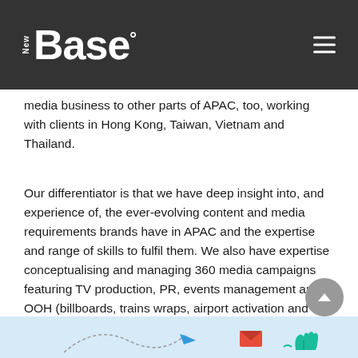NewBase°
media business to other parts of APAC, too, working with clients in Hong Kong, Taiwan, Vietnam and Thailand.
Our differentiator is that we have deep insight into, and experience of, the ever-evolving content and media requirements brands have in APAC and the expertise and range of skills to fulfil them. We also have expertise conceptualising and managing 360 media campaigns featuring TV production, PR, events management and OOH (billboards, trains wraps, airport activation and roadshows).
[Figure (illustration): Partial view of a light blue banner at the bottom with colorful illustrated icons including a paper airplane, envelope, and hand/plant motifs]